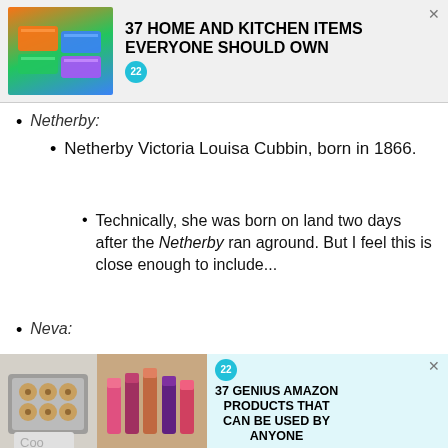[Figure (other): Top advertisement banner: '37 HOME AND KITCHEN ITEMS EVERYONE SHOULD OWN' with colorful storage bags image and badge '22']
Netherby:
Netherby Victoria Louisa Cubbin, born in 1866.
Technically, she was born on land two days after the Netherby ran aground. But I feel this is close enough to include...
Neva:
We use cookies on our website to give you the most relevant experience by remembering your preferences and repeat visits. By clicking “Accept”, you consent to the use of ALL the cookies.
Do no
Coo
[Figure (other): Bottom advertisement banner: '37 GENIUS AMAZON PRODUCTS THAT CAN BE USED BY ANYONE' with cookies and lipstick images and badge '22']